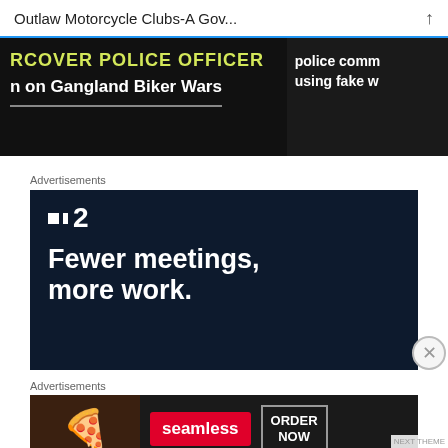Outlaw Motorcycle Clubs-A Gov...
[Figure (screenshot): Dark background banner showing partial text: 'RCOVER POLICE OFFICER' and 'n on Gangland Biker Wars' on the left; 'police comm' and 'using fake w' on the right.]
Advertisements
[Figure (screenshot): Dark navy advertisement for a project management app (Plan2 / :2 logo). Headline reads 'Fewer meetings, more work.' with a button partially visible at the bottom.]
Advertisements
[Figure (screenshot): Seamless food delivery advertisement. Shows pizza slices on the left, Seamless red logo button in center, and ORDER NOW bordered button on the right, on a dark background.]